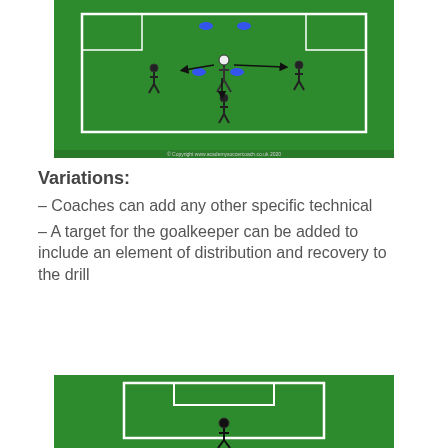[Figure (illustration): Soccer drill diagram showing a green field with white boundary lines, players (black figures) positioned around blue disc markers, with arrows indicating movement patterns. Copyright watermark at bottom: © Copyright www.academysoccercoach.co.uk 2020]
Variations:
– Coaches can add any other specific technical
– A target for the goalkeeper can be added to include an element of distribution and recovery to the drill
[Figure (illustration): Partial soccer/football field diagram showing a green pitch with white penalty area lines and a single black player figure in the center of the penalty area, cropped at the bottom of the page.]